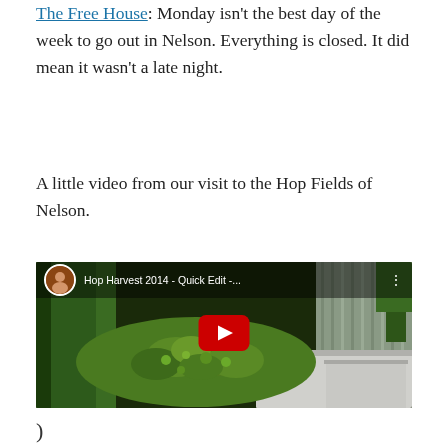The Free House: Monday isn't the best day of the week to go out in Nelson. Everything is closed. It did mean it wasn't a late night.
A little video from our visit to the Hop Fields of Nelson.
[Figure (screenshot): YouTube video thumbnail showing hops being processed on a conveyor in a farm building. Video title: 'Hop Harvest 2014 - Quick Edit -...' with a red YouTube play button in the center.]
)